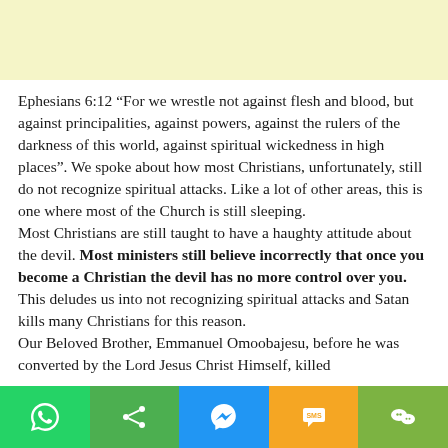[Figure (other): Light yellow banner area at top of page]
Ephesians 6:12 “For we wrestle not against flesh and blood, but against principalities, against powers, against the rulers of the darkness of this world, against spiritual wickedness in high places”. We spoke about how most Christians, unfortunately, still do not recognize spiritual attacks. Like a lot of other areas, this is one where most of the Church is still sleeping.
Most Christians are still taught to have a haughty attitude about the devil. Most ministers still believe incorrectly that once you become a Christian the devil has no more control over you. This deludes us into not recognizing spiritual attacks and Satan kills many Christians for this reason.
Our Beloved Brother, Emmanuel Omoobajesu, before he was converted by the Lord Jesus Christ Himself, killed
[Figure (other): Social sharing toolbar with WhatsApp, Share, Messenger, SMS, and WeChat buttons]